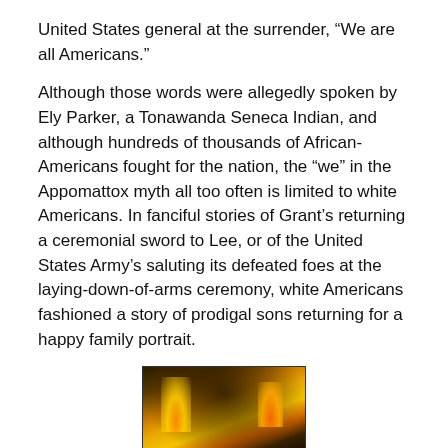United States general at the surrender, “We are all Americans.”
Although those words were allegedly spoken by Ely Parker, a Tonawanda Seneca Indian, and although hundreds of thousands of African-Americans fought for the nation, the “we” in the Appomattox myth all too often is limited to white Americans. In fanciful stories of Grant’s returning a ceremonial sword to Lee, or of the United States Army’s saluting its defeated foes at the laying-down-of-arms ceremony, white Americans fashioned a story of prodigal sons returning for a happy family portrait.
[Figure (illustration): A dark historical painting depicting what appears to be a burning ship or building at night, with fire and smoke visible, and a large structure silhouetted against the flames.]